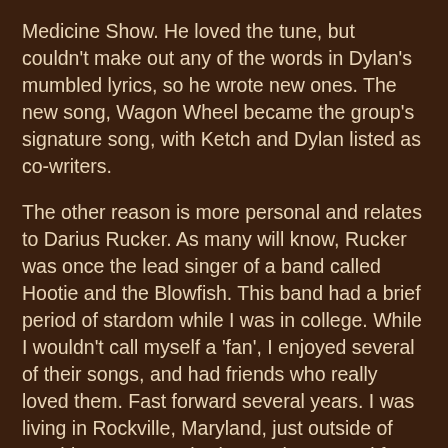Medicine Show. He loved the tune, but couldn't make out any of the words in Dylan's mumbled lyrics, so he wrote new ones. The new song, Wagon Wheel became the group's signature song, with Ketch and Dylan listed as co-writers.
The other reason is more personal and relates to Darius Rucker. As many will know, Rucker was once the lead singer of a band called Hootie and the Blowfish. This band had a brief period of stardom while I was in college. While I wouldn't call myself a 'fan', I enjoyed several of their songs, and had friends who really loved them. Fast forward several years. I was living in Rockville, Maryland, just outside of Washington, D.C. I had recently returned from a year living in Wales, where I had left my heart with a young lady. I was working two jobs to keep myself busy, but it was a pretty miserable time, all told.
One night, I was coming home late after a long shift at the gaming store. After getting off the Metro, I started across the parking lot that led to my apartment. However, instead of cars, the parking lot was full of people. There was stage. There was music. There were no gates or tickets, so I